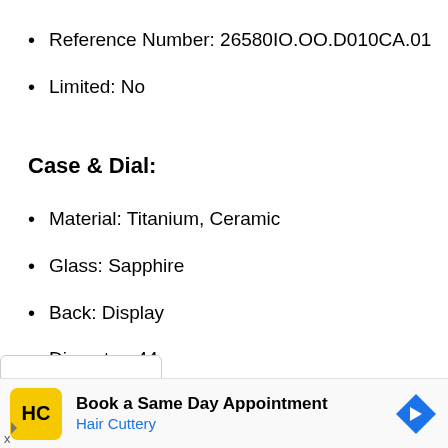Reference Number: 26580IO.OO.D010CA.01
Limited: No
Case & Dial:
Material: Titanium, Ceramic
Glass: Sapphire
Back: Display
Diameter: 44
[Figure (screenshot): Dropdown chevron (v) UI element at bottom of content area]
[Figure (infographic): Advertisement banner: Hair Cuttery logo (HC in yellow square), text 'Book a Same Day Appointment' and 'Hair Cuttery' in blue, blue diamond directional arrow icon on the right]